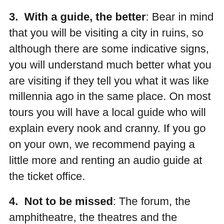3. With a guide, the better: Bear in mind that you will be visiting a city in ruins, so although there are some indicative signs, you will understand much better what you are visiting if they tell you what it was like millennia ago in the same place. On most tours you will have a local guide who will explain every nook and cranny. If you go on your own, we recommend paying a little more and renting an audio guide at the ticket office.
4. Not to be missed: The forum, the amphitheatre, the theatres and the lupanar are not to be missed on your tour. Visit them all!
5. Be prepared for an outdoor visit: if it's the hot season, don't forget your water bottle, hat,